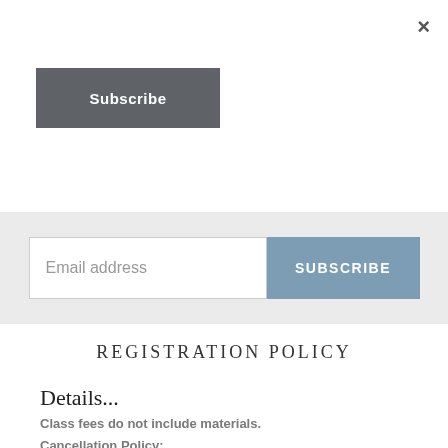×
Subscribe
Email address
SUBSCRIBE
REGISTRATION POLICY
Details...
Class fees do not include materials.
Cancellation Policy: